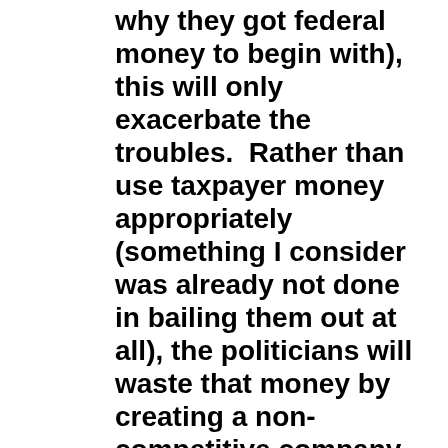why they got federal money to begin with), this will only exacerbate the troubles.  Rather than use taxpayer money appropriately (something I consider was already not done in bailing them out at all), the politicians will waste that money by creating a non-competitive company that cannot succeed against rivals and will either go down with that taxpayer money or it will keep demanding